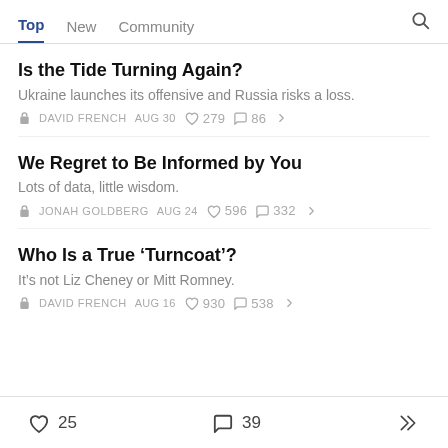Top  New  Community
Is the Tide Turning Again?
Ukraine launches its offensive and Russia risks a loss.
DAVID FRENCH  AUG 30  279  86
We Regret to Be Informed by You
Lots of data, little wisdom.
JONAH GOLDBERG  AUG 24  596  332
Who Is a True ‘Turncoat’?
It’s not Liz Cheney or Mitt Romney.
DAVID FRENCH  AUG 16  930  538
25  39